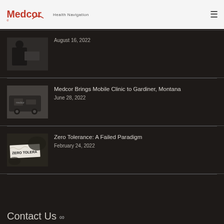Medcor Health Navigation
August 16, 2022
Medcor Brings Mobile Clinic to Gardiner, Montana
June 28, 2022
Zero Tolerance: A Failed Paradigm
February 24, 2022
Contact Us